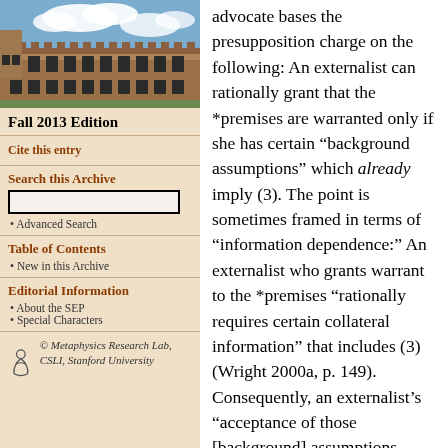[Figure (photo): Photograph of a stone university building (likely Oxford or Stanford) with a blue sky and clouds]
Fall 2013 Edition
Cite this entry
Search this Archive
Advanced Search
Table of Contents
New in this Archive
Editorial Information
About the SEP
Special Characters
© Metaphysics Research Lab, CSLI, Stanford University
advocate bases the presupposition charge on the following: An externalist can rationally grant that the *premises are warranted only if she has certain “background assumptions” which already imply (3). The point is sometimes framed in terms of “information dependence:” An externalist who grants warrant to the *premises “rationally requires certain collateral information” that includes (3) (Wright 2000a, p. 149). Consequently, an externalist’s “acceptance of those [background] assumptions cannot be rationally combined with doubt about the truth of